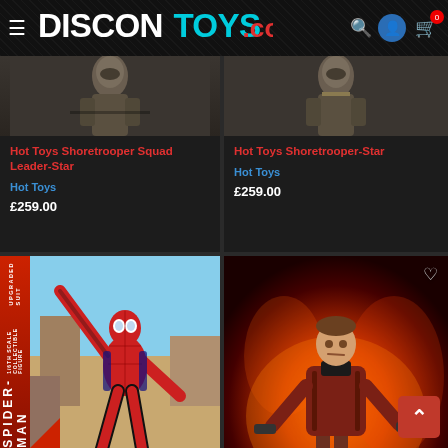DISCONTOYS.com
Hot Toys Shoretrooper Squad Leader-Star
Hot Toys
£259.00
Hot Toys Shoretrooper-Star
Hot Toys
£259.00
[Figure (photo): Spider-Man Upgraded Suit collectible figure product image]
[Figure (photo): Star-Lord figure (man in red jacket holding weapons) product image with heart icon overlay and scroll-to-top button]